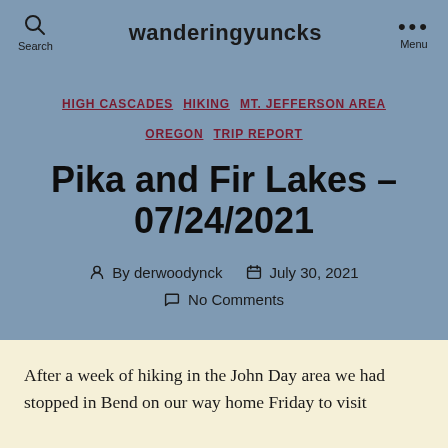wanderingyuncks
HIGH CASCADES · HIKING · MT. JEFFERSON AREA · OREGON · TRIP REPORT
Pika and Fir Lakes – 07/24/2021
By derwoodynck · July 30, 2021 · No Comments
After a week of hiking in the John Day area we had stopped in Bend on our way home Friday to visit